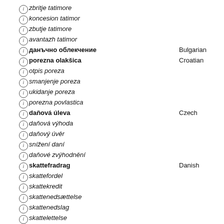zbritje tatimore
koncesion tatimor
zbutje tatimore
avantazh tatimor
данъчно облекчение  Bulgarian
porezna olakšica  Croatian
otpis poreza
smanjenje poreza
ukidanje poreza
porezna povlastica
daňová úleva  Czech
daňová výhoda
daňový úvěr
snížení daní
daňové zvýhodnění
skattefradrag  Danish
skattefordel
skattekredit
skattenedsættelse
skattenedslag
skattelettelse
belastingaftrek  Dutch
belastingvermindering